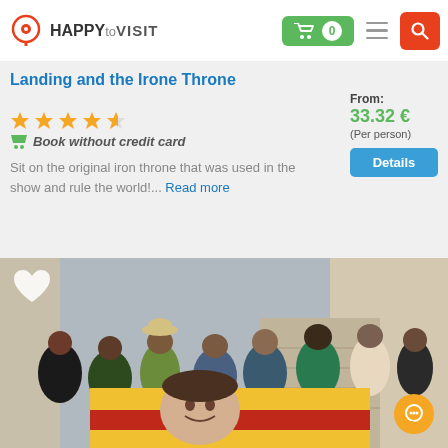[Figure (logo): HappyToVisit logo with location pin icon]
[Figure (infographic): Navigation bar with green shopping cart button showing 0, hamburger menu, and red search button]
Landing and the Irone Throne
[Figure (infographic): 4.5 star rating shown with orange stars]
Book without credit card
Sit on the original iron throne that was used in the show and rule the world!... Read more
From: 33.32 € (Per person)
Details
[Figure (photo): Group of people posing on stone stairs holding a large flag with a woman's portrait drawing on it, in what appears to be Dubrovnik, Croatia]